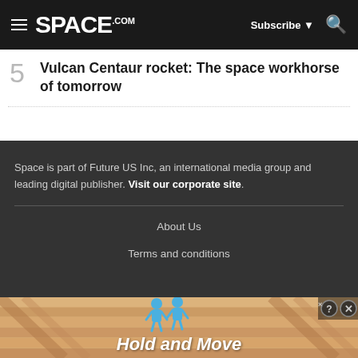SPACE.com | Subscribe
5 Vulcan Centaur rocket: The space workhorse of tomorrow
Space is part of Future US Inc, an international media group and leading digital publisher. Visit our corporate site.
About Us
Terms and conditions
[Figure (screenshot): Advertisement banner showing 'Hold and Move' game with blue figures on a wooden surface background, with close/help buttons in top right corner.]